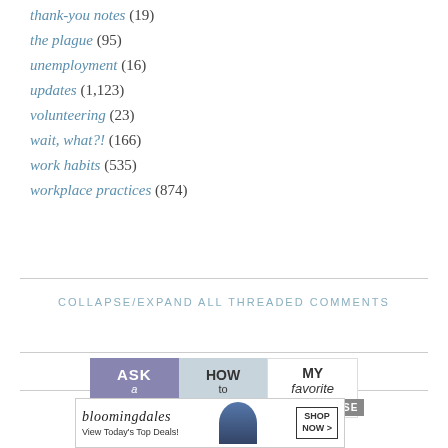thank-you notes (19)
the plague (95)
unemployment (16)
updates (1,123)
volunteering (23)
wait, what?! (166)
work habits (535)
workplace practices (874)
COLLAPSE/EXPAND ALL THREADED COMMENTS
[Figure (infographic): Three-panel info banner: ASK a question | HOW to comment | MY favorite pos[ts], with a CLOSE button overlay]
[Figure (infographic): Bloomingdale's advertisement: View Today's Top Deals! with SHOP NOW > button and model photo]